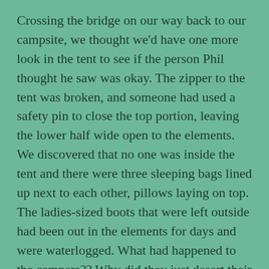Crossing the bridge on our way back to our campsite, we thought we'd have one more look in the tent to see if the person Phil thought he saw was okay. The zipper to the tent was broken, and someone had used a safety pin to close the top portion, leaving the lower half wide open to the elements. We discovered that no one was inside the tent and there were three sleeping bags lined up next to each other, pillows laying on top. The ladies-sized boots that were left outside had been out in the elements for days and were waterlogged. What had happened to the campers?? Why did they just desert their camp site and leave all of their camping gear behind? As you can imagine, our minds ran wild with all kinds of terrifying explanations… Unable to call the authorities for lack of cell service, we went back to our camp site to talk about our options.